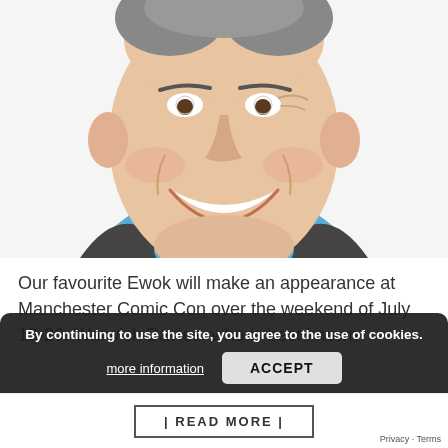[Figure (photo): Close-up photo of a smiling man with short grey-brown hair wearing a dark blazer and light blue shirt, cropped at chest level, white background.]
Our favourite Ewok will make an appearance at Manchester Comic Con over the weekend of July 19-20. Warwick Davies, who is best known fo...
By continuing to use the site, you agree to the use of cookies.
more information
ACCEPT
| READ MORE |
Privacy · Terms